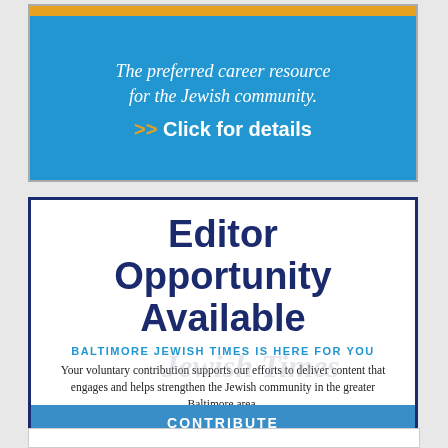[Figure (infographic): Blue advertisement box with gold bar at top. Text reads: 'The preferred career resource for the Jewish community.' with '>> Click for details' call to action in white/orange.]
[Figure (infographic): White box with dark blue border containing 'Editor Opportunity Available' in large bold dark blue text, followed by 'BALTIMORE JEWISH TIMES IS HERE FOR YOU' in blue, body text about contributions, and a blue CONTRIBUTE button bar.]